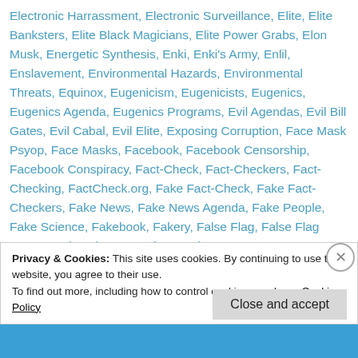Electronic Harrassment, Electronic Surveillance, Elite, Elite Banksters, Elite Black Magicians, Elite Power Grabs, Elon Musk, Energetic Synthesis, Enki, Enki's Army, Enlil, Enslavement, Environmental Hazards, Environmental Threats, Equinox, Eugenicism, Eugenicists, Eugenics, Eugenics Agenda, Eugenics Programs, Evil Agendas, Evil Bill Gates, Evil Cabal, Evil Elite, Exposing Corruption, Face Mask Psyop, Face Masks, Facebook, Facebook Censorship, Facebook Conspiracy, Fact-Check, Fact-Checkers, Fact-Checking, FactCheck.org, Fake Fact-Check, Fake Fact-Checkers, Fake News, Fake News Agenda, Fake People, Fake Science, Fakebook, Fakery, False Flag, False Flag Events, False Flag Operations, False
Privacy & Cookies: This site uses cookies. By continuing to use this website, you agree to their use.
To find out more, including how to control cookies, see here: Cookie Policy